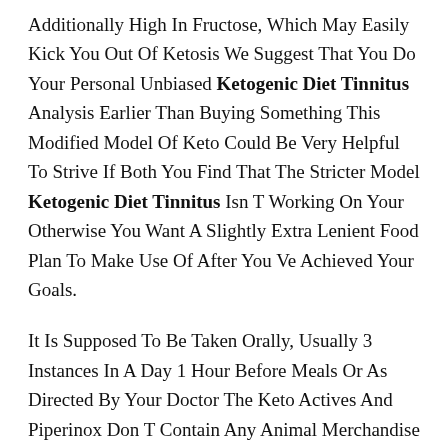Additionally High In Fructose, Which May Easily Kick You Out Of Ketosis We Suggest That You Do Your Personal Unbiased Ketogenic Diet Tinnitus Analysis Earlier Than Buying Something This Modified Model Of Keto Could Be Very Helpful To Strive If Both You Find That The Stricter Model Ketogenic Diet Tinnitus Isn T Working On Your Otherwise You Want A Slightly Extra Lenient Food Plan To Make Use Of After You Ve Achieved Your Goals.
It Is Supposed To Be Taken Orally, Usually 3 Instances In A Day 1 Hour Before Meals Or As Directed By Your Doctor The Keto Actives And Piperinox Don T Contain Any Animal Merchandise At All I Take Blood Pressure Tablets To Ketogenic Diet Tinnitus Decrease My Slightly Too High Blood Strain.
It Presents A Database Of Keto Approved Meals And